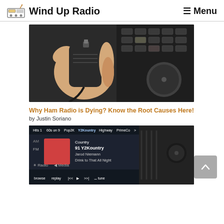Wind Up Radio  ≡ Menu
[Figure (photo): A hand holding a handheld radio microphone/speaker in front of a ham radio transceiver control panel with many buttons and knobs]
Why Ham Radio is Dying? Know the Root Causes Here!
by Justin Soriano
[Figure (photo): A car infotainment screen showing radio display with Country FM 91 Y2Kountry, Jarod Niemann, Drink to That All Night]